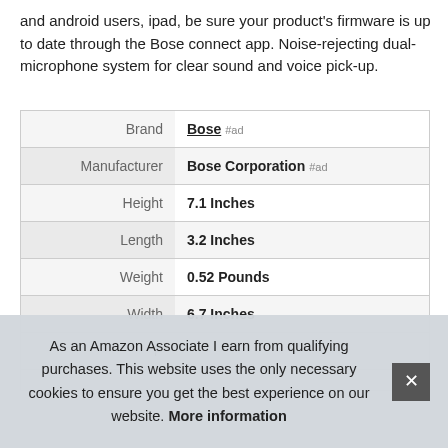and android users, ipad, be sure your product's firmware is up to date through the Bose connect app. Noise-rejecting dual-microphone system for clear sound and voice pick-up.
|  |  |
| --- | --- |
| Brand | Bose #ad |
| Manufacturer | Bose Corporation #ad |
| Height | 7.1 Inches |
| Length | 3.2 Inches |
| Weight | 0.52 Pounds |
| Width | 6.7 Inches |
| P |  |
As an Amazon Associate I earn from qualifying purchases. This website uses the only necessary cookies to ensure you get the best experience on our website. More information